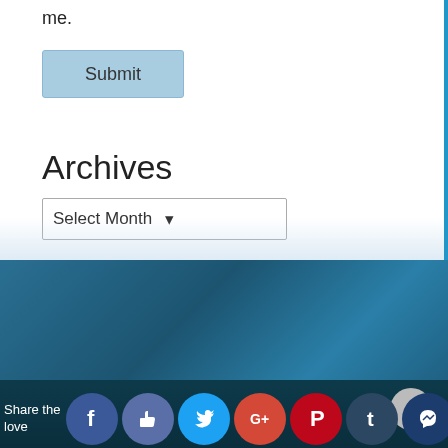me.
Submit
Archives
Select Month
[Figure (screenshot): Teal/blue gradient footer background area]
Share the love
[Figure (infographic): Social sharing icons: Facebook, Like/ThumbsUp, Twitter, Google+, Pinterest, Tumblr, Messenger]